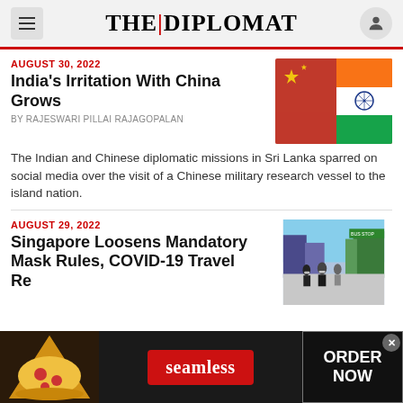THE | DIPLOMAT
AUGUST 30, 2022
India's Irritation With China Grows
By RAJESWARI PILLAI RAJAGOPALAN
[Figure (photo): Chinese and Indian flags overlapping]
The Indian and Chinese diplomatic missions in Sri Lanka sparred on social media over the visit of a Chinese military research vessel to the island nation.
AUGUST 29, 2022
Singapore Loosens Mandatory Mask Rules, COVID-19 Travel Requirements
[Figure (photo): People walking on a Singapore street wearing masks]
[Figure (infographic): Seamless food delivery advertisement banner — pizza image, seamless logo, ORDER NOW button]